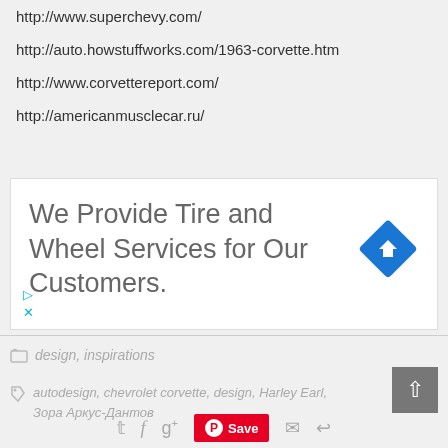http://www.superchevy.com/
http://auto.howstuffworks.com/1963-corvette.htm
http://www.corvettereport.com/
http://americanmusclecar.ru/
[Figure (infographic): Advertisement box with text 'We Provide Tire and Wheel Services for Our Customers.' and a blue diamond turn arrow icon, with small cyan play and close controls at bottom left.]
design, inspirations
autodesign, chevrolet corvette, design, Harley Earl, Зора Аркус-Дантов